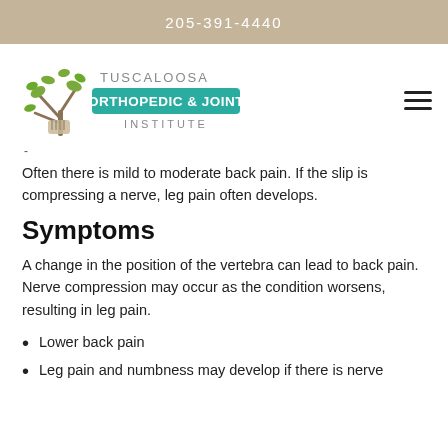205-391-4440
[Figure (logo): Tuscaloosa Orthopedic & Joint Institute logo with tree graphic]
Often there is mild to moderate back pain. If the slip is compressing a nerve, leg pain often develops.
Symptoms
A change in the position of the vertebra can lead to back pain. Nerve compression may occur as the condition worsens, resulting in leg pain.
Lower back pain
Leg pain and numbness may develop if there is nerve